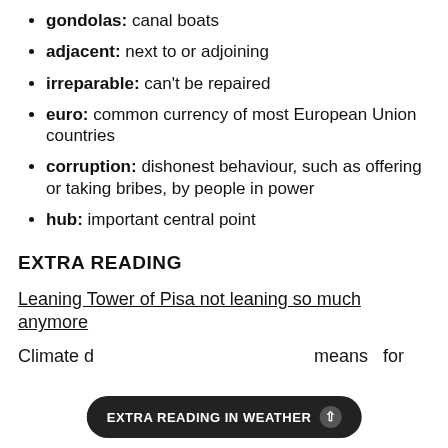gondolas: canal boats
adjacent: next to or adjoining
irreparable: can't be repaired
euro: common currency of most European Union countries
corruption: dishonest behaviour, such as offering or taking bribes, by people in power
hub: important central point
EXTRA READING
Leaning Tower of Pisa not leaning so much anymore
Climate d means for
EXTRA READING IN WEATHER